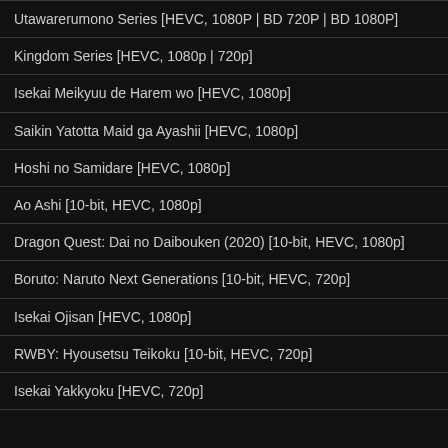Utawarerumono Series [HEVC, 1080P | BD 720P | BD 1080P]
Kingdom Series [HEVC, 1080p | 720p]
Isekai Meikyuu de Harem wo [HEVC, 1080p]
Saikin Yatotta Maid ga Ayashii [HEVC, 1080p]
Hoshi no Samidare [HEVC, 1080p]
Ao Ashi [10-bit, HEVC, 1080p]
Dragon Quest: Dai no Daibouken (2020) [10-bit, HEVC, 1080p]
Boruto: Naruto Next Generations [10-bit, HEVC, 720p]
Isekai Ojisan [HEVC, 1080p]
RWBY: Hyousetsu Teikoku [10-bit, HEVC, 720p]
Isekai Yakkyoku [HEVC, 720p]